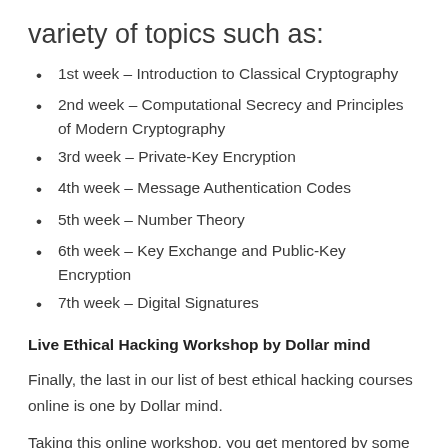variety of topics such as:
1st week – Introduction to Classical Cryptography
2nd week – Computational Secrecy and Principles of Modern Cryptography
3rd week – Private-Key Encryption
4th week – Message Authentication Codes
5th week – Number Theory
6th week – Key Exchange and Public-Key Encryption
7th week – Digital Signatures
Live Ethical Hacking Workshop by Dollar mind
Finally, the last in our list of best ethical hacking courses online is one by Dollar mind.
Taking this online workshop, you get mentored by some of the best cybersecurity experts and ethical hackers in the country.